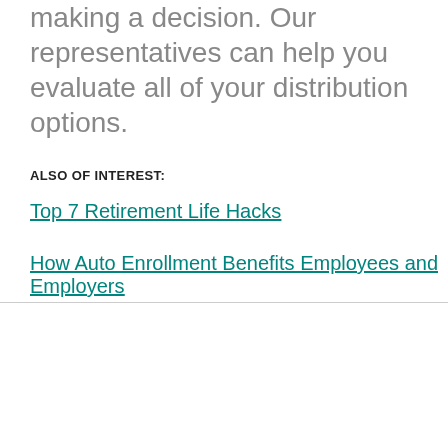making a decision. Our representatives can help you evaluate all of your distribution options.
ALSO OF INTEREST:
Top 7 Retirement Life Hacks
How Auto Enrollment Benefits Employees and Employers
We use cookies to offer you a better browsing experience, analyze site traffic and personalize content. Read about how we use cookies and how you can control them by clicking "Cookie Settings."